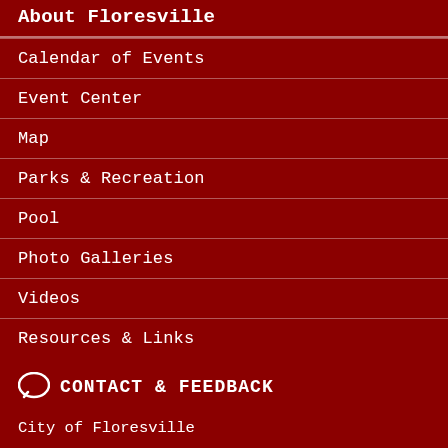About Floresville
Calendar of Events
Event Center
Map
Parks & Recreation
Pool
Photo Galleries
Videos
Resources & Links
CONTACT & FEEDBACK
City of Floresville
1120 D Street
Floresville, TX 78114
(830) 393-3185 phone